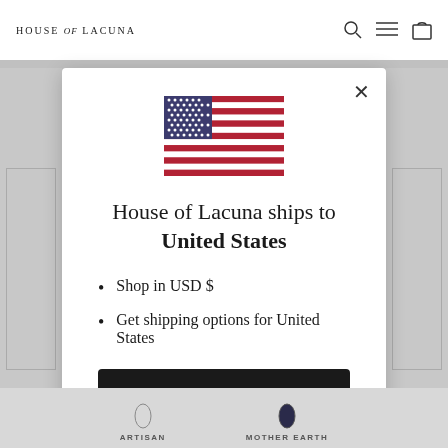HOUSE of LACUNA
[Figure (illustration): US flag SVG illustration centered in modal]
House of Lacuna ships to United States
Shop in USD $
Get shipping options for United States
Shop now
Change shipping country